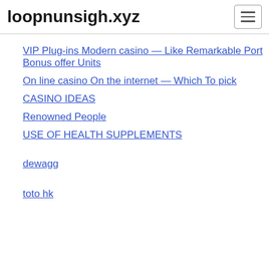loopnunsigh.xyz
VIP Plug-ins Modern casino — Like Remarkable Port Bonus offer Units
On line casino On the internet — Which To pick
CASINO IDEAS
Renowned People
USE OF HEALTH SUPPLEMENTS
dewagg
toto hk